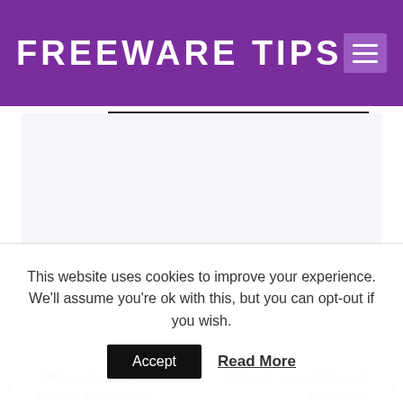FREEWARE TIPS
[Figure (other): Advertisement placeholder box with light lavender background]
This site uses Akismet to reduce spam. Learn how your comment data is processed.
← SMS backup and restore on android
Manage your clipboard with Ditto →
GO BACK...
This website uses cookies to improve your experience. We'll assume you're ok with this, but you can opt-out if you wish.